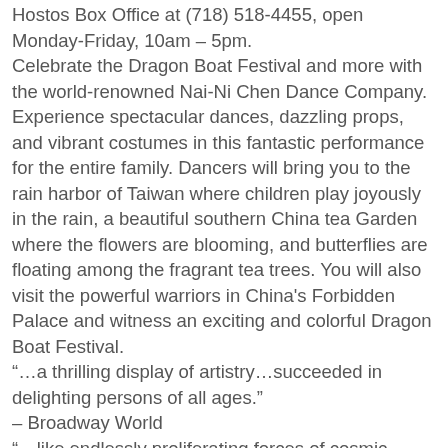Hostos Box Office at (718) 518-4455, open Monday-Friday, 10am – 5pm.
Celebrate the Dragon Boat Festival and more with the world-renowned Nai-Ni Chen Dance Company. Experience spectacular dances, dazzling props, and vibrant costumes in this fantastic performance for the entire family. Dancers will bring you to the rain harbor of Taiwan where children play joyously in the rain, a beautiful southern China tea Garden where the flowers are blooming, and butterflies are floating among the fragrant tea trees. You will also visit the powerful warriors in China's Forbidden Palace and witness an exciting and colorful Dragon Boat Festival.
“…a thrilling display of artistry…succeeded in delighting persons of all ages.”
– Broadway World
“…like endlessly proliferating forces of cosmic energy…”
– The New York Times